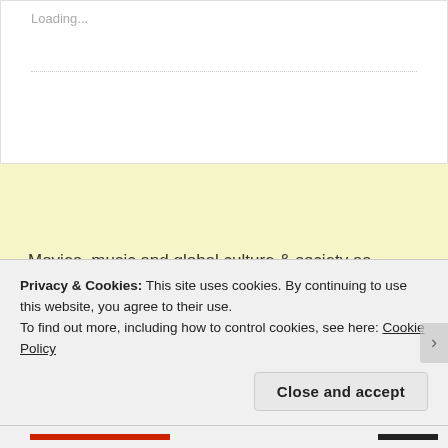Loading...
Movies, music and global culture & society as experienced by Barnaby Haszard Morris, New Zealander and globalist dilettante.
Privacy & Cookies: This site uses cookies. By continuing to use this website, you agree to their use.
To find out more, including how to control cookies, see here: Cookie Policy
Close and accept